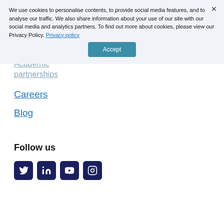Publications
Academic partnerships
We use cookies to personalise contents, to provide social media features, and to analyse our traffic. We also share information about your use of our site with our social media and analytics partners. To find out more about cookies, please view our Privacy Policy. Privacy policy
Accept
Careers
Blog
Follow us
[Figure (infographic): Four social media icon buttons: Twitter, LinkedIn, YouTube, Instagram — dark navy rounded square buttons]